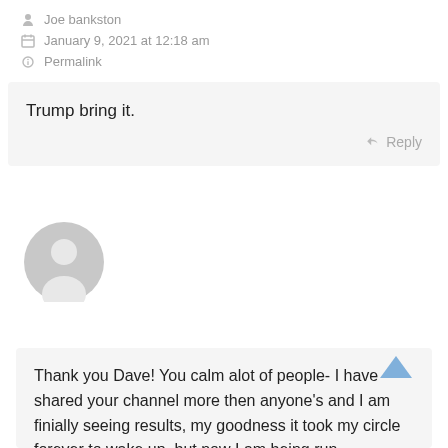Joe bankston
January 9, 2021 at 12:18 am
Permalink
Trump bring it.
Reply
[Figure (illustration): Generic grey user avatar circle]
Michelle Hicks
January 9, 2021 at 12:20 am
Permalink
Thank you Dave! You calm alot of people- I have shared your channel more then anyone's and I am finially seeing results, my goodness it took my circle forever to wake up, but now I am being run...